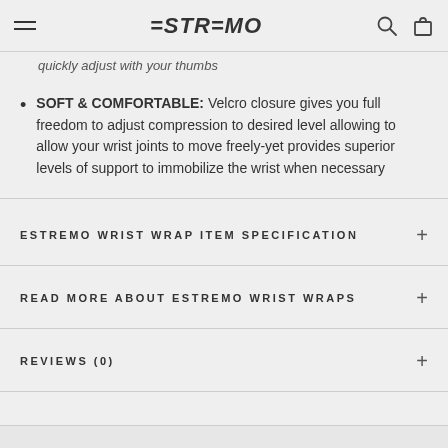ESTREMO
quickly adjust with your thumbs
SOFT & COMFORTABLE: Velcro closure gives you full freedom to adjust compression to desired level allowing to allow your wrist joints to move freely-yet provides superior levels of support to immobilize the wrist when necessary
ESTREMO WRIST WRAP ITEM SPECIFICATION
READ MORE ABOUT ESTREMO WRIST WRAPS
REVIEWS (0)